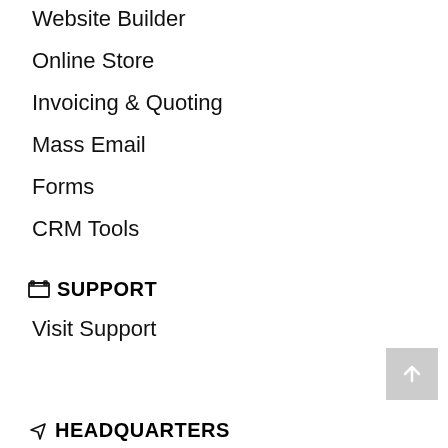Website Builder
Online Store
Invoicing & Quoting
Mass Email
Forms
CRM Tools
SUPPORT
Visit Support
HEADQUARTERS